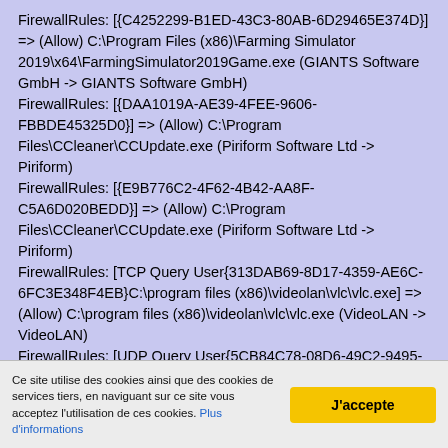FirewallRules: [{C4252299-B1ED-43C3-80AB-6D29465E374D}] => (Allow) C:\Program Files (x86)\Farming Simulator 2019\x64\FarmingSimulator2019Game.exe (GIANTS Software GmbH -> GIANTS Software GmbH) FirewallRules: [{DAA1019A-AE39-4FEE-9606-FBBDE45325D0}] => (Allow) C:\Program Files\CCleaner\CCUpdate.exe (Piriform Software Ltd -> Piriform) FirewallRules: [{E9B776C2-4F62-4B42-AA8F-C5A6D020BEDD}] => (Allow) C:\Program Files\CCleaner\CCUpdate.exe (Piriform Software Ltd -> Piriform) FirewallRules: [TCP Query User{313DAB69-8D17-4359-AE6C-6FC3E348F4EB}C:\program files (x86)\videolan\vlc\vlc.exe] => (Allow) C:\program files (x86)\videolan\vlc\vlc.exe (VideoLAN -> VideoLAN) FirewallRules: [UDP Query User{5CB84C78-08D6-49C2-9495-2919CBA3C49F}C:\program files (x86)\videolan\vlc\vlc.exe] => (Allow) C:\program files (x86)\videolan\vlc\vlc.exe (VideoLAN ->
Ce site utilise des cookies ainsi que des cookies de services tiers, en naviguant sur ce site vous acceptez l'utilisation de ces cookies. Plus d'informations
J'accepte